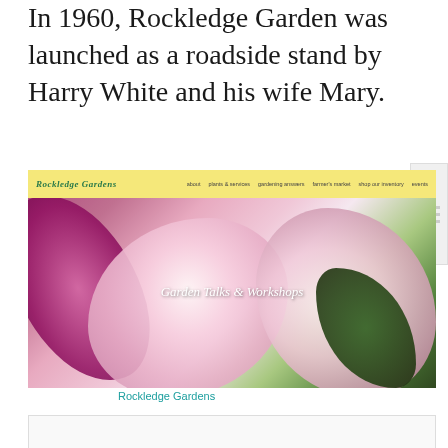In 1960, Rockledge Garden was launched as a roadside stand by Harry White and his wife Mary.
[Figure (screenshot): Screenshot of the Rockledge Gardens website showing a yellow navigation bar with logo and menu links (about, plants & services, gardening answers, farmer's market, shop our inventory, events), and a hero image of pink plumeria flowers with the text 'Garden Talks & Workshops' overlaid.]
Rockledge Gardens